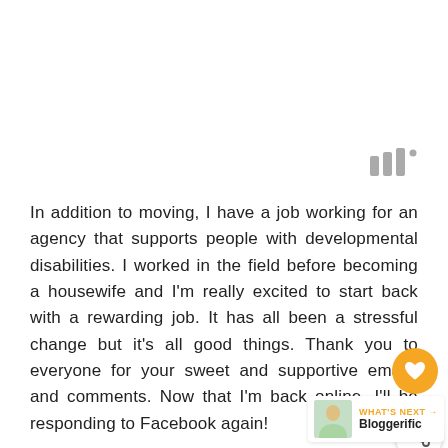[Figure (other): Small gray icon resembling stacked bars or signal indicator with a small dot, positioned upper right area]
In addition to moving, I have a job working for an agency that supports people with developmental disabilities. I worked in the field before becoming a housewife and I'm really excited to start back with a rewarding job. It has all been a stressful change but it's all good things. Thank you to everyone for your sweet and supportive emails and comments. Now that I'm back online, I'll be responding to Facebook again!